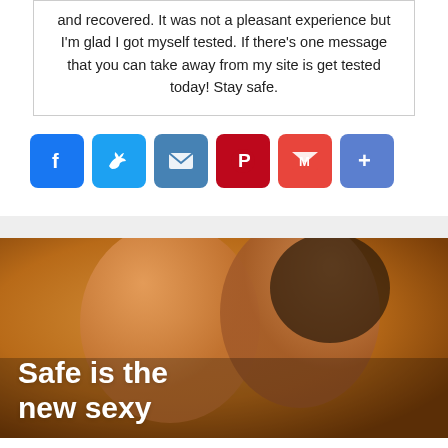and recovered. It was not a pleasant experience but I'm glad I got myself tested. If there's one message that you can take away from my site is get tested today! Stay safe.
[Figure (other): Social share buttons: Facebook, Twitter, Email, Pinterest, Gmail, More]
[Figure (photo): Photo of two people about to kiss with overlay text 'Safe is the new sexy']